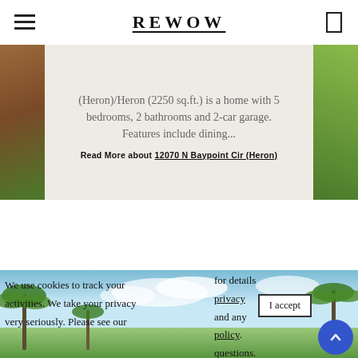REWOW
(Heron)/Heron (2250 sq.ft.) is a home with 5 bedrooms, 2 bathrooms and 2-car garage. Features include dining...
Read More about 12070 N Baypoint Cir (Heron)
[Figure (photo): Tropical outdoor scene with palm trees and blue sky, used as background for cookie consent banner]
We use cookies to track your activities. We take your privacy very seriously. Please see our for details privacy and any policy. questions.
I accept